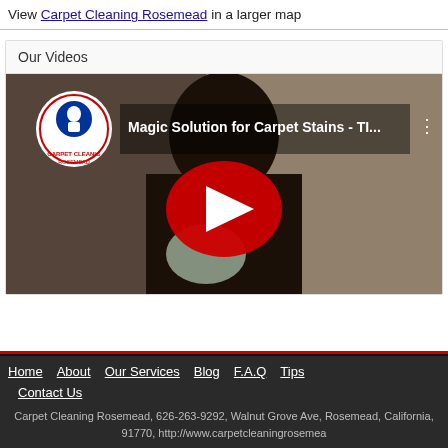View Carpet Cleaning Rosemead in a larger map
Our Videos
[Figure (screenshot): YouTube video thumbnail showing a woman with long dark hair. Video title reads 'Magic Solution for Carpet Stains - TI...' with a Carpet Cleaning Rosemead channel logo and a red YouTube play button in the center.]
Home  About  Our Services  Blog  F.A.Q  Tips  Contact Us
Carpet Cleaning Rosemead, 626-263-9292, Walnut Grove Ave, Rosemead, California, 91770, http://www.carpetcleaningrosemead